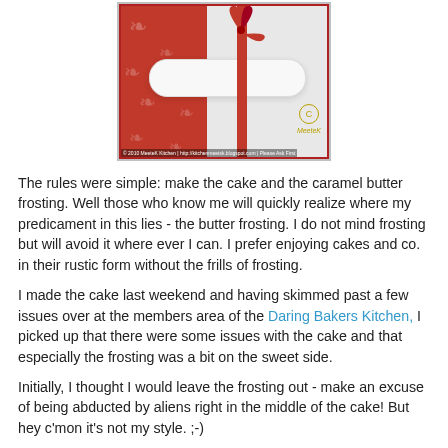[Figure (photo): Photo of a white tube/rolling pin tied with a red ribbon, placed on red patterned paper with a MeeteK copyright watermark]
The rules were simple: make the cake and the caramel butter frosting. Well those who know me will quickly realize where my predicament in this lies - the butter frosting. I do not mind frosting but will avoid it where ever I can. I prefer enjoying cakes and co. in their rustic form without the frills of frosting.
I made the cake last weekend and having skimmed past a few issues over at the members area of the Daring Bakers Kitchen, I picked up that there were some issues with the cake and that especially the frosting was a bit on the sweet side.
Initially, I thought I would leave the frosting out - make an excuse of being abducted by aliens right in the middle of the cake! But hey c'mon it's not my style. ;-)